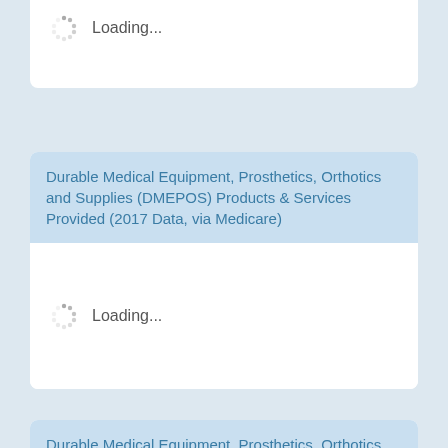[Figure (screenshot): Loading spinner with 'Loading...' text in a white card (top partial, clipped at top)]
Durable Medical Equipment, Prosthetics, Orthotics and Supplies (DMEPOS) Products & Services Provided (2017 Data, via Medicare)
[Figure (screenshot): Loading spinner with 'Loading...' text in a white card body under the 2017 DMEPOS section]
Durable Medical Equipment, Prosthetics, Orthotics and Supplies (DMEPOS) Products & Services Provided (2016 Data, via Medicare)
[Figure (screenshot): Loading spinner with 'Loading...' text in a white card body under the 2016 DMEPOS section]